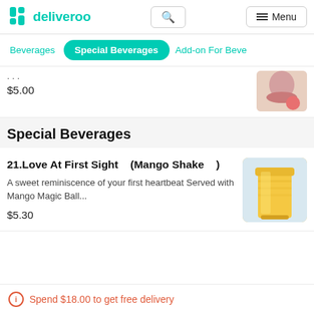deliveroo
Beverages | Special Beverages | Add-on For Beve
$5.00
Special Beverages
21.Love At First Sight (Mango Shake) — A sweet reminiscence of your first heartbeat Served with Mango Magic Ball... $5.30
Spend $18.00 to get free delivery